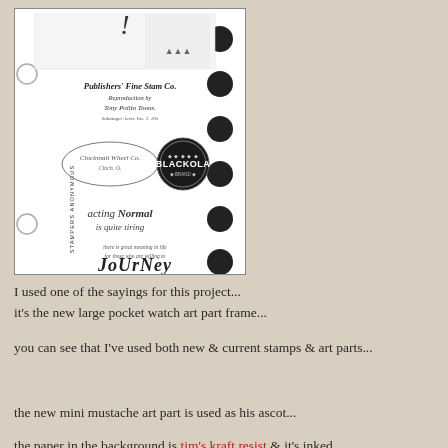[Figure (photo): A stamp sheet from Stampers Anonymous showing vintage-style stamps including logos, text stamps reading 'acting Normal is quite tiring' and 'journey', and a Blackola circular badge stamp. The sheet has punched circles on the right edge and rings on the left.]
I used one of the sayings for this project...
it's the new large pocket watch art part frame...
you can see that I've used both new & current stamps & art parts...
the new mini mustache art part is used as his ascot...
the paper in the background is tim's kraft resist & it's inked...